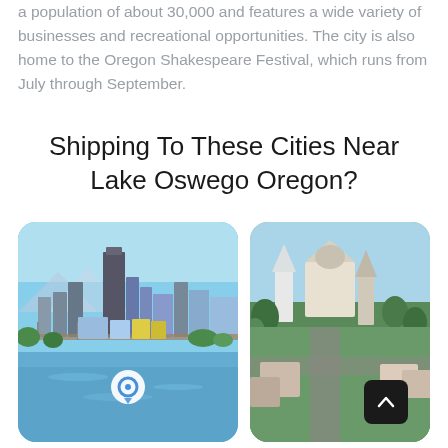a population of about 30,000 and features a wide variety of businesses and recreational opportunities. The city is also home to the Oregon Shakespeare Festival, which runs from July through September.
Shipping To These Cities Near Lake Oswego Oregon?
[Figure (photo): Aerial/waterfront view of Portland, Oregon skyline with blue sky and Willamette River in foreground, with a map pin icon overlay]
[Figure (photo): Aerial view of Salem, Oregon showing the Oregon State Capitol building and church steeple among trees]